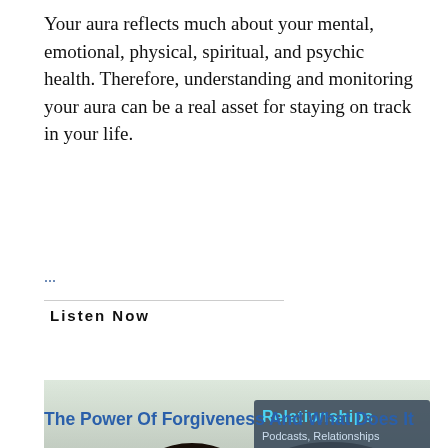Your aura reflects much about your mental, emotional, physical, spiritual, and psychic health. Therefore, understanding and monitoring your aura can be a real asset for staying on track in your life.
...
Listen Now
[Figure (photo): A man with hands clasped appearing to plead with a woman who looks away with arms crossed. Text overlay reads: 'The Power Of Forgiveness And What Does It Mean To Forgive Someone.' A 'School Of Intuition' logo is in the bottom right. A 'Relationships' banner and 'Podcasts, Relationships' tag appear in the top right.]
The Power Of Forgiveness And What Does It